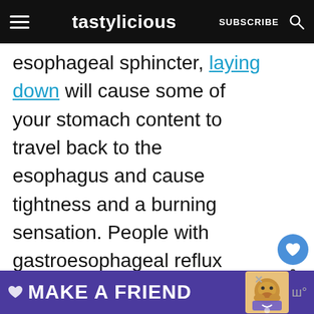tastylicious  SUBSCRIBE
esophageal sphincter, laying down will cause some of your stomach content to travel back to the esophagus and cause tightness and a burning sensation. People with gastroesophageal reflux disease should also sleep in an inclined position, where the head is higher than the lower body. This way acid is allowed to settle in the
[Figure (screenshot): What's Next panel with bread thumbnail and text 'Does Bread Help Preven...']
[Figure (infographic): Purple advertisement banner reading MAKE A FRIEND with dog image]